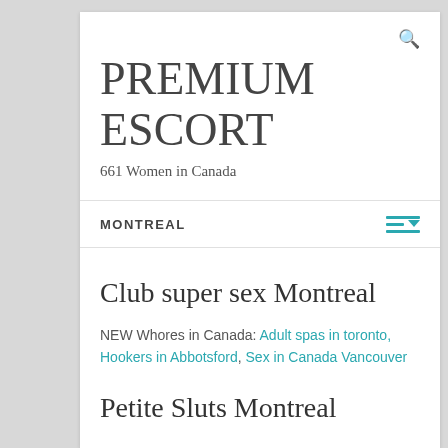PREMIUM ESCORT
661 Women in Canada
MONTREAL
Club super sex Montreal
NEW Whores in Canada: Adult spas in toronto, Hookers in Abbotsford, Sex in Canada Vancouver
Petite Sluts Montreal